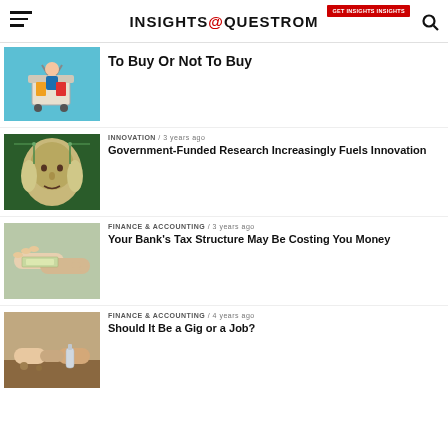INSIGHTS@QUESTROM
To Buy Or Not To Buy
INNOVATION / 3 years ago
Government-Funded Research Increasingly Fuels Innovation
FINANCE & ACCOUNTING / 3 years ago
Your Bank's Tax Structure May Be Costing You Money
FINANCE & ACCOUNTING / 4 years ago
Should It Be a Gig or a Job?